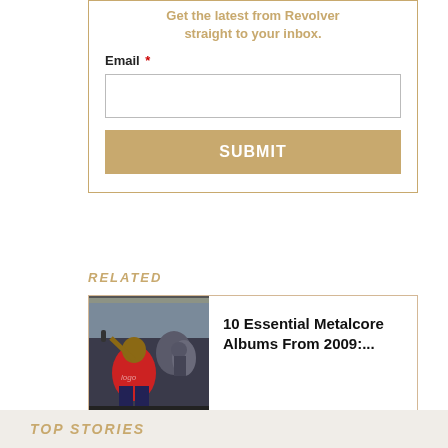Get the latest from Revolver straight to your inbox.
Email *
SUBMIT
RELATED
[Figure (photo): Concert photo of a performer in a red shirt singing into a microphone at an outdoor event]
10 Essential Metalcore Albums From 2009:...
TOP STORIES